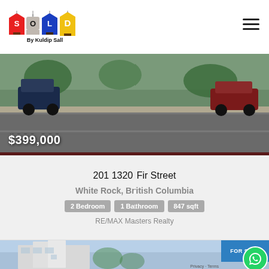[Figure (logo): SOLD by Kuldip Sall real estate logo with colorful house-shaped letters hanging from strings, and tagline 'By Kuldip Sall']
[Figure (photo): Street-level photo of a residential property with trees and parked cars visible]
$399,000
201 1320 Fir Street
White Rock, British Columbia
2 Bedroom  1 Bathroom  847 sqft
RE/MAX Masters Realty
[Figure (photo): Modern white residential building with blue sky background, FOR SALE badge overlay]